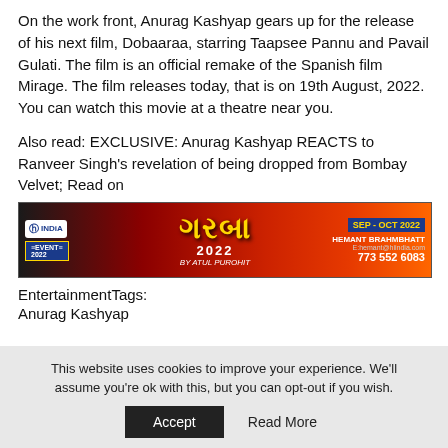On the work front, Anurag Kashyap gears up for the release of his next film, Dobaaraa, starring Taapsee Pannu and Pavail Gulati. The film is an official remake of the Spanish film Mirage. The film releases today, that is on 19th August, 2022. You can watch this movie at a theatre near you.
Also read: EXCLUSIVE: Anurag Kashyap REACTS to Ranveer Singh's revelation of being dropped from Bombay Velvet; Read on
[Figure (infographic): Advertisement banner for Hi India Garba Event 2022 by Atul Purohit, SEP-OCT 2022, contact Hemant Brahmbhatt 773 552 6083]
EntertainmentTags:
Anurag Kashyap
This website uses cookies to improve your experience. We'll assume you're ok with this, but you can opt-out if you wish.